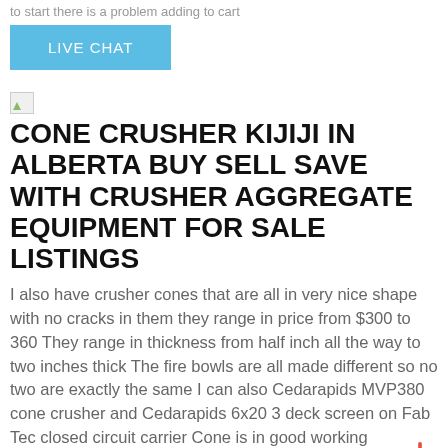to start there is a problem adding to cart
[Figure (other): Blue LIVE CHAT button]
[Figure (other): Broken image icon]
CONE CRUSHER KIJIJI IN ALBERTA BUY SELL SAVE WITH CRUSHER AGGREGATE EQUIPMENT FOR SALE LISTINGS
I also have crusher cones that are all in very nice shape with no cracks in them they range in price from $300 to 360 They range in thickness from half inch all the way to two inches thick The fire bowls are all made different so no two are exactly the same I can also Cedarapids MVP380 cone crusher and Cedarapids 6x20 3 deck screen on Fab Tec closed circuit carrier Cone is in good working condition Cone is in good working condition For Sale Price